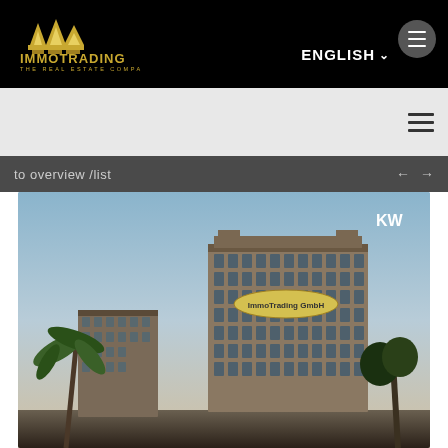[Figure (logo): ImmoTrading The Real Estate Company logo with golden building silhouette on black background]
ENGLISH
[Figure (screenshot): Navigation bar with hamburger menu icon in circle]
to overview /list
[Figure (photo): Luxury high-rise residential building rendering at dusk with palm trees. KW watermark in top right. ImmoTrading GmbH badge overlay on the building.]